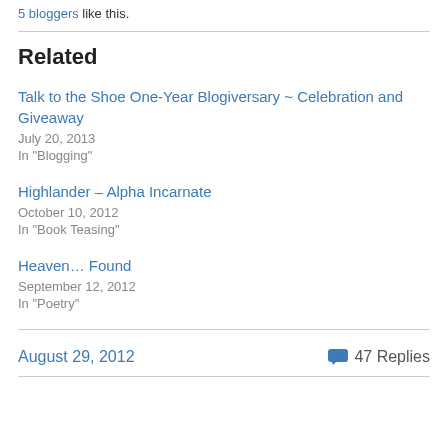5 bloggers like this.
Related
Talk to the Shoe One-Year Blogiversary ~ Celebration and Giveaway
July 20, 2013
In "Blogging"
Highlander – Alpha Incarnate
October 10, 2012
In "Book Teasing"
Heaven… Found
September 12, 2012
In "Poetry"
August 29, 2012   💬 47 Replies